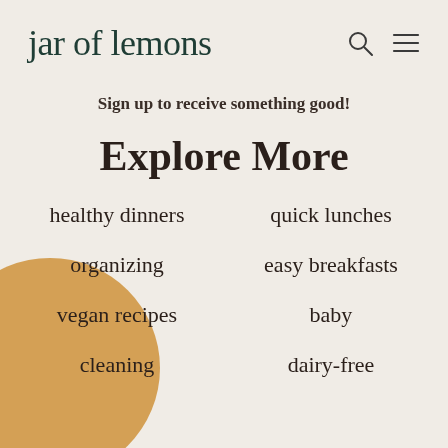jar of lemons
Sign up to receive something good!
Explore More
healthy dinners
quick lunches
organizing
easy breakfasts
vegan recipes
baby
cleaning
dairy-free